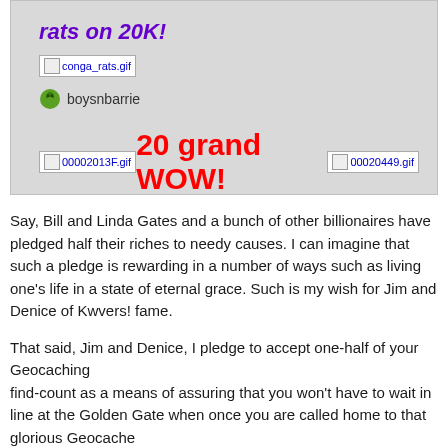rats on 20K!
[Figure (photo): Broken image placeholder for conga_rats.gif]
boysnbarrie
[Figure (photo): Row with broken image placeholders for 00002013F.gif and 00020449.gif flanking the large red text '20 grand WOW!']
Say, Bill and Linda Gates and a bunch of other billionaires have pledged half their riches to needy causes. I can imagine that such a pledge is rewarding in a number of ways such as living one's life in a state of eternal grace. Such is my wish for Jim and Denice of Kwvers! fame.
That said, Jim and Denice, I pledge to accept one-half of your Geocaching
find-count as a means of assuring that you won't have to wait in line at the Golden Gate when once you are called home to that glorious Geocache
in the sky.